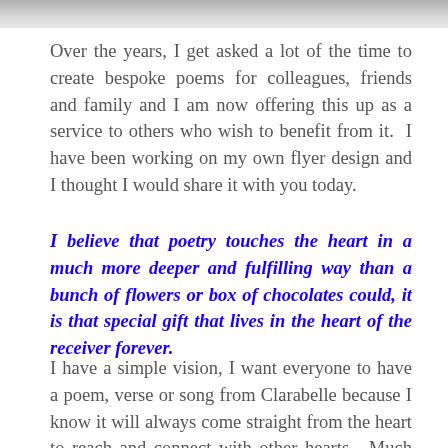[Figure (photo): Partial photo visible at top of page, appears to show a light-colored object (possibly a cup or dish) against a white background]
Over the years, I get asked a lot of the time to create bespoke poems for colleagues, friends and family and I am now offering this up as a service to others who wish to benefit from it.  I have been working on my own flyer design and I thought I would share it with you today.
I believe that poetry touches the heart in a much more deeper and fulfilling way than a bunch of flowers or box of chocolates could, it is that special gift that lives in the heart of the receiver forever.
I have a simple vision, I want everyone to have a poem, verse or song from Clarabelle because I know it will always come straight from the heart to reach and connect with other hearts.  Much love to you